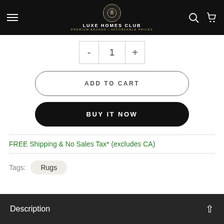LUXE HOMES CLUB | PREMIUM BRANDS | AFFORDABLE PRICES
1
ADD TO CART
BUY IT NOW
FREE Shipping & No Sales Tax* (excludes CA)
Tags: Rugs
Description